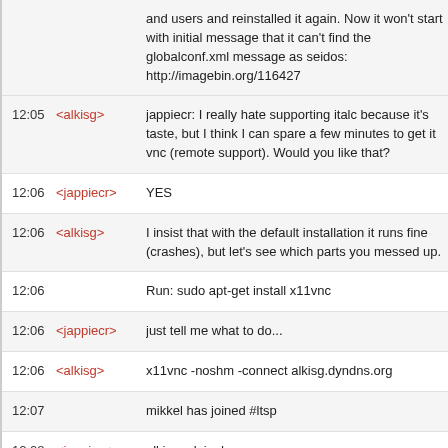and users and reinstalled it again. Now it won't start with initial message that it can't find the globalconf.xml message as seidos: http://imagebin.org/116427
12:05 <alkisg> jappiecr: I really hate supporting italc because it's taste, but I think I can spare a few minutes to get it vnc (remote support). Would you like that?
12:06 <jappiecr> YES
12:06 <alkisg> I insist that with the default installation it runs fine ( crashes), but let's see which parts you messed up.
12:06  Run: sudo apt-get install x11vnc
12:06 <jappiecr> just tell me what to do...
12:06 <alkisg> x11vnc -noshm -connect alkisg.dyndns.org
12:07  mikkel has joined #ltsp
12:08 <jappiecr> alkisg, ok is done
12:09 <alkisg> jappiecr: I didn't receive any connections, did you g messages?